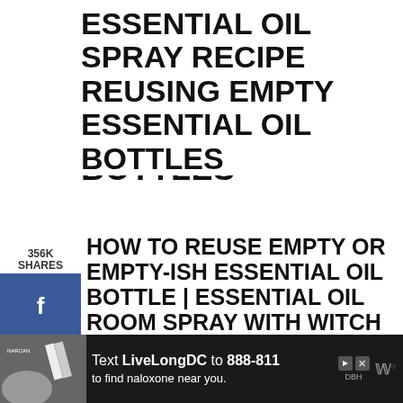ESSENTIAL OIL SPRAY RECIPE REUSING EMPTY ESSENTIAL OIL BOTTLES
HOW TO REUSE EMPTY OR EMPTY-ISH ESSENTIAL OIL BOTTLE | ESSENTIAL OIL ROOM SPRAY WITH WITCH HAZEL
This is my new favorite way to spread scent throughout my home! It is fast and simple and is less wasteful.
[Figure (infographic): Advertisement banner at bottom: black background with text 'Text LiveLongDC to 888-811 to find naloxone near you.' with DBH logo and imagery.]